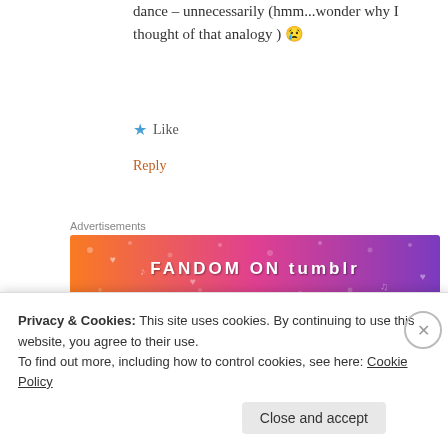dance – unnecessarily (hmm...wonder why I thought of that analogy ) 😢
★ Like
Reply
Advertisements
[Figure (other): Fandom on Tumblr advertisement banner with gradient orange to purple background]
john molijn
February 8, 2016 at 10:06 am
Privacy & Cookies: This site uses cookies. By continuing to use this website, you agree to their use.
To find out more, including how to control cookies, see here: Cookie Policy
Close and accept